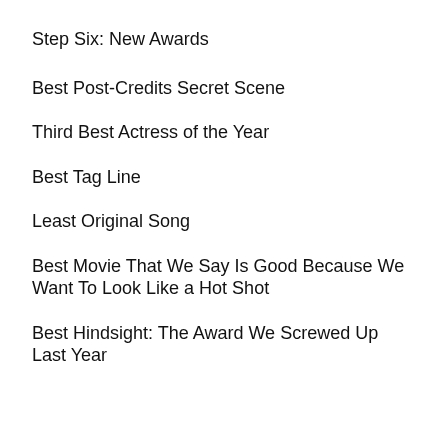Step Six: New Awards
Best Post-Credits Secret Scene
Third Best Actress of the Year
Best Tag Line
Least Original Song
Best Movie That We Say Is Good Because We Want To Look Like a Hot Shot
Best Hindsight: The Award We Screwed Up Last Year